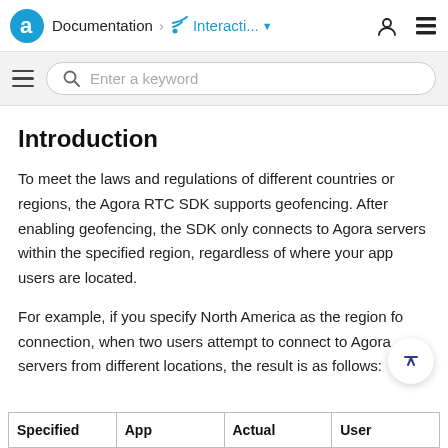Documentation > Interacti... (dropdown) | user icon | menu icon
Introduction
To meet the laws and regulations of different countries or regions, the Agora RTC SDK supports geofencing. After enabling geofencing, the SDK only connects to Agora servers within the specified region, regardless of where your app users are located.
For example, if you specify North America as the region for connection, when two users attempt to connect to Agora servers from different locations, the result is as follows:
| Specified | App | Actual | User |
| --- | --- | --- | --- |